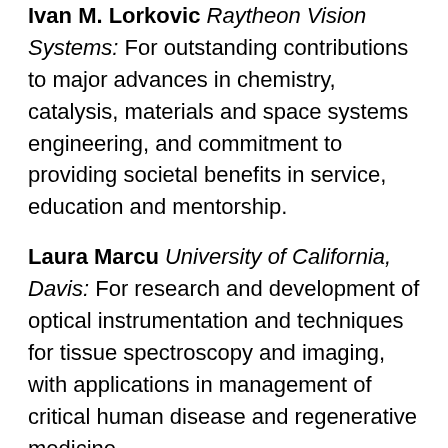Ivan M. Lorkovic Raytheon Vision Systems: For outstanding contributions to major advances in chemistry, catalysis, materials and space systems engineering, and commitment to providing societal benefits in service, education and mentorship.
Laura Marcu University of California, Davis: For research and development of optical instrumentation and techniques for tissue spectroscopy and imaging, with applications in management of critical human disease and regenerative medicine.
Sudip K. Mazumder University of Illinois at Chicago: For distinguished contributions to the field of multi-scale control and analysis of power-electronic systems.
Triantafillos (Lakis) Mountziaris University of